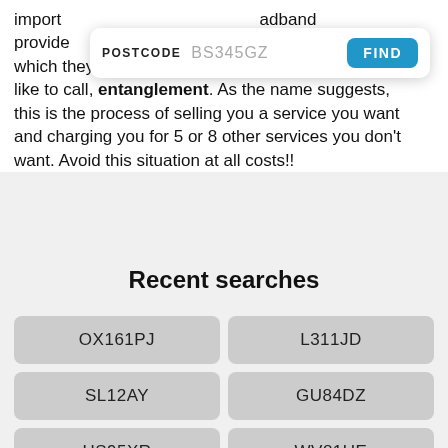import broadband provide you can, which they like to call Quad Play, which is what we like to call, entanglement. As the name suggests, this is the process of selling you a service you want and charging you for 5 or 8 other services you don't want. Avoid this situation at all costs!!
Recent searches
| OX161PJ | L311JD |
| SL12AY | GU84DZ |
| HS95XR | WV81UE |
| RM163DN | GU343SE |
| BS346HE | LE98GN |